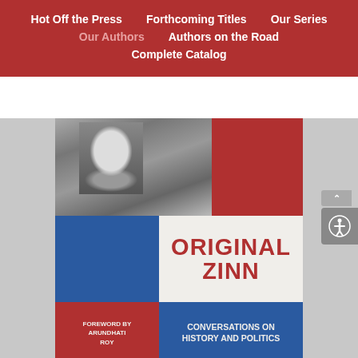Hot Off the Press | Forthcoming Titles | Our Series | Our Authors | Authors on the Road | Complete Catalog
[Figure (illustration): Book cover for 'Original Zinn: Conversations on History and Politics' with foreword by Arundhati Roy. Cover features a black-and-white photo of Howard Zinn in top section, bold red title text 'ORIGINAL ZINN' on white background, blue and red geometric panels, and subtitle 'CONVERSATIONS ON HISTORY AND POLITICS' in white on blue.]